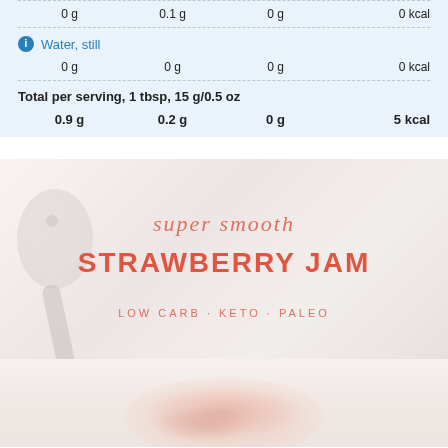| Carbs | Fat | Protein | Calories |
| --- | --- | --- | --- |
| 0 g | 0.1 g | 0 g | 0 kcal |
| 0 g | 0 g | 0 g | 0 kcal |
Water, still
Total per serving, 1 tbsp, 15 g/0.5 oz
0.9 g   0.2 g   0 g   5 kcal
[Figure (photo): Super smooth Strawberry Jam promotional image with text overlay reading 'super smooth STRAWBERRY JAM' and subtitle 'LOW CARB · KETO · PALEO', with a spoon/utensil visible in lower left, on a light pink/white background]
[Figure (photo): Blurred bottom portion showing strawberries or jam on a light background]